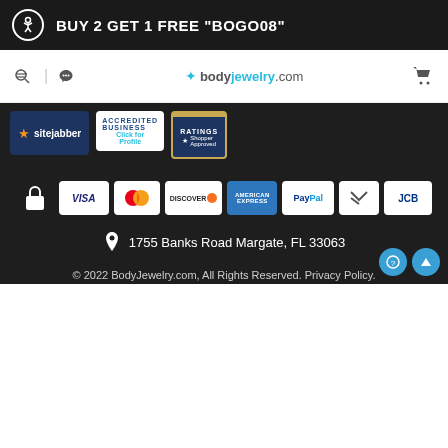BUY 2 GET 1 FREE "BOGO08"
[Figure (logo): bodyjewelry.com logo with navigation icons (search, phone, cart)]
[Figure (infographic): Trust badges: Sitejabber, BBB Accredited Business, Shopper Approved Ratings]
[Figure (infographic): Payment method icons: lock, VISA, Mastercard, Discover, American Express, PayPal, Google Pay, JCB]
1755 Banks Road Margate, FL 33063
© 2022 BodyJewelry.com, All Rights Reserved. Privacy Policy.